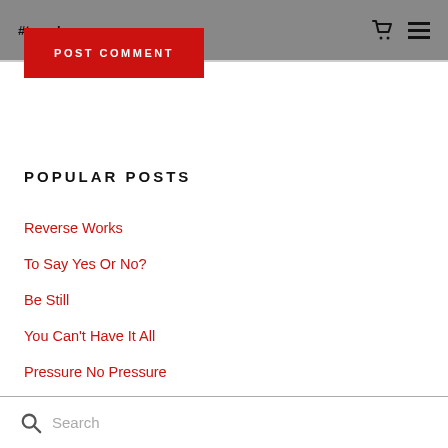#teamknowyourpurpose
POST COMMENT
POPULAR POSTS
Reverse Works
To Say Yes Or No?
Be Still
You Can't Have It All
Pressure No Pressure
Search